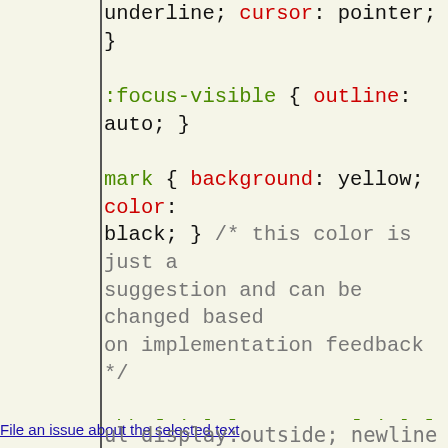underline; cursor: pointer; }

:focus-visible { outline: auto; }

mark { background: yellow; color: black; } /* this color is just a suggestion and can be changed based on implementation feedback */

abbr[title], acronym[title] { text-decoration: dotted underline; }
ins, u { text-decoration: underline; }
del, s, strike { text-decoration: line-through; }

q::before { content: open-quote; }
q::after { content: close-quote; }
File an issue about the selected text
ul { display: outside; newline; } /*